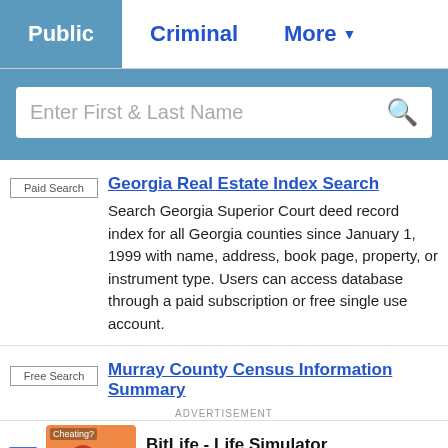Public | Criminal | More
Enter First & Last Name
Paid Search
Georgia Real Estate Index Search
Search Georgia Superior Court deed record index for all Georgia counties since January 1, 1999 with name, address, book page, property, or instrument type. Users can access database through a paid subscription or free single use account.
Free Search
Murray County Census Information Summary
ADVERTISEMENT
Ad  BitLife - Life Simulator  Install!